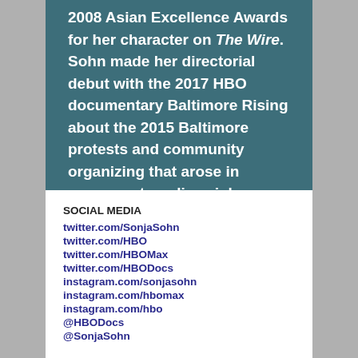2008 Asian Excellence Awards for her character on The Wire. Sohn made her directorial debut with the 2017 HBO documentary Baltimore Rising about the 2015 Baltimore protests and community organizing that arose in response to police violence.
SOCIAL MEDIA
twitter.com/SonjaSohn
twitter.com/HBO
twitter.com/HBOMax
twitter.com/HBODocs
instagram.com/sonjasohn
instagram.com/hbomax
instagram.com/hbo
@HBODocs
@SonjaSohn